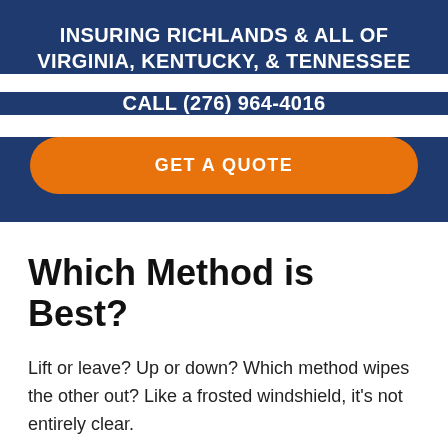INSURING RICHLANDS & ALL OF VIRGINIA, KENTUCKY, & TENNESSEE
CALL (276) 964-4016
GET A QUOTE
Which Method is Best?
Lift or leave? Up or down? Which method wipes the other out? Like a frosted windshield, it's not entirely clear.